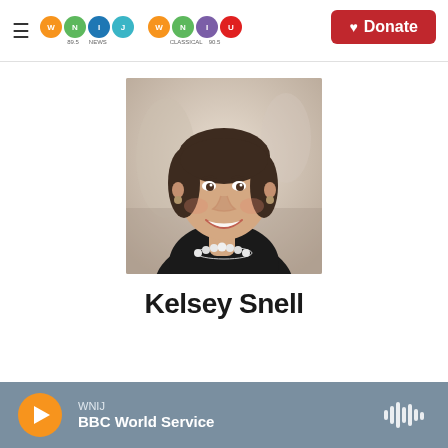WNIJ 89.5 NEWS | WNIU CLASSICAL 90.5 | Donate
[Figure (photo): Headshot of Kelsey Snell, a woman with short brown hair, smiling, wearing a black top and pearl necklace, against a blurred light background]
Kelsey Snell
WNIJ  BBC World Service